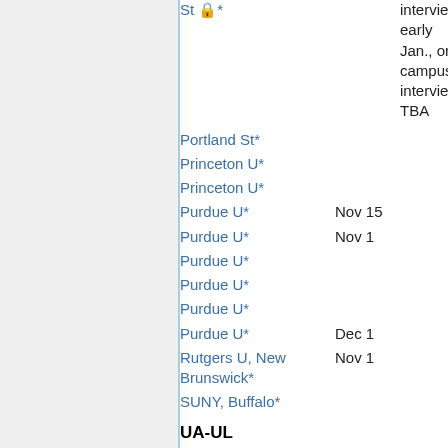St 🔒* — interviews early Jan., on-campus interviews TBA
Portland St*
Princeton U*
Princeton U*
Purdue U* — Nov 15
Purdue U* — Nov 1
Purdue U*
Purdue U*
Purdue U*
Purdue U* — Dec 1
Rutgers U, New Brunswick* — Nov 1
SUNY, Buffalo*
UA-UL